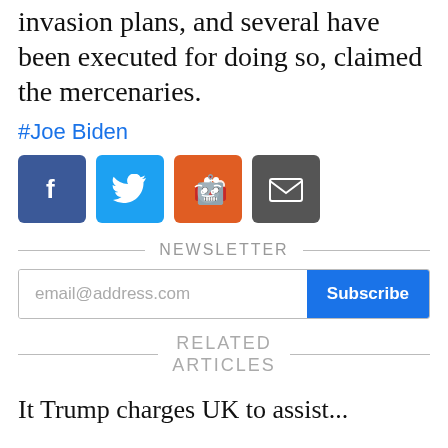invasion plans, and several have been executed for doing so, claimed the mercenaries.
#Joe Biden
[Figure (other): Social share buttons: Facebook (blue), Twitter (light blue), Reddit (orange), Email (dark gray)]
NEWSLETTER
email@address.com  Subscribe
RELATED ARTICLES
It Trump charges UK to assist...